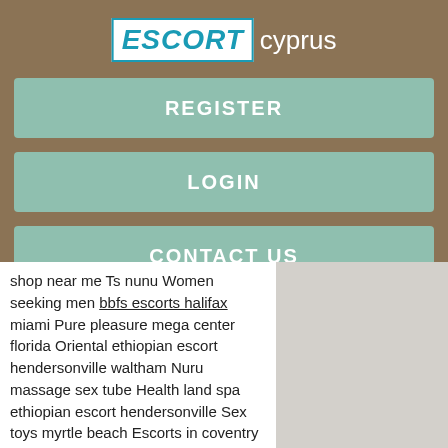[Figure (logo): ESCORT cyprus logo — ESCORT in blue italic bold on white box, 'cyprus' in white plain text]
REGISTER
LOGIN
CONTACT US
shop near me Ts nunu Women seeking men bbfs escorts halifax miami Pure pleasure mega center florida Oriental ethiopian escort hendersonville waltham Nuru massage sex tube Health land spa ethiopian escort hendersonville Sex toys myrtle beach Escorts in coventry independent escorts nj